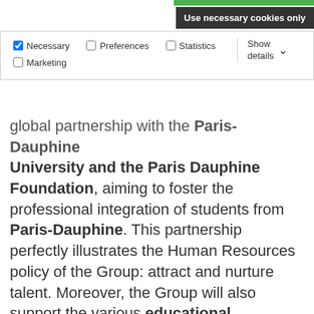Use necessary cookies only
Necessary  Preferences  Statistics  Marketing  Show details
global partnership with the Paris-Dauphine University and the Paris Dauphine Foundation, aiming to foster the professional integration of students from Paris-Dauphine. This partnership perfectly illustrates the Human Resources policy of the Group: attract and nurture talent. Moreover, the Group will also support the various educational initiatives taken by the University as well as its training policy.

As part of this partnership, ATALIAN will offer a Graduate Programme, which will enable young graduates to discover